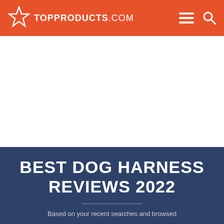TOPPRODUCTS.COM
[Figure (other): White advertisement/banner area below the header navigation bar]
BEST DOG HARNESS REVIEWS 2022
Based on your recent searches and browsing...